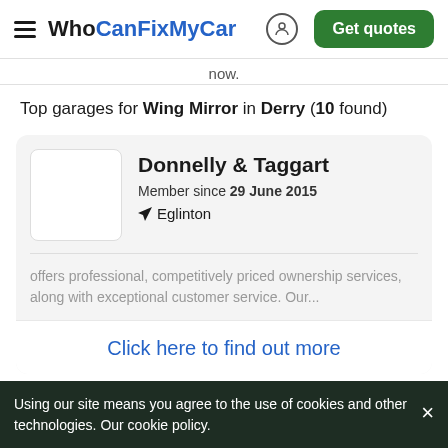WhoCanFixMyCar — Get quotes
now.
Top garages for Wing Mirror in Derry (10 found)
Donnelly & Taggart
Member since 29 June 2015
Eglinton
offers professional, competitively priced ownership services, along with exceptional customer service. Our...
Click here to find out more
Using our site means you agree to the use of cookies and other technologies. Our cookie policy.